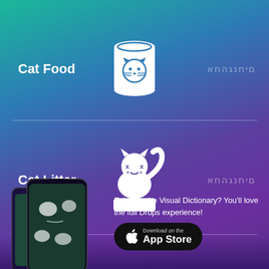Cat Food
[Figure (illustration): White icon of a cat food can with a cat face on the label]
קטגוריה
Cat Litter
[Figure (illustration): White icon of a cat sitting in a litter box]
קטגוריה
[Figure (screenshot): Smartphone showing the Drops app with visual dictionary content]
Enjoying the Visual Dictionary? You'll love the full Drops experience!
Download on the App Store